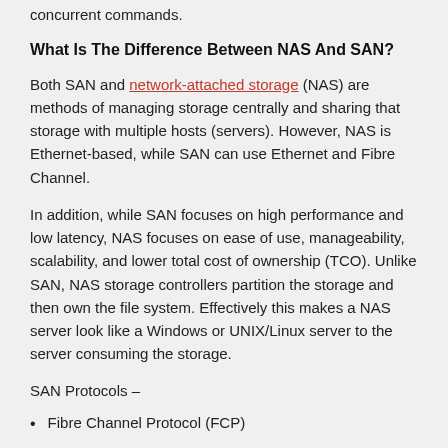concurrent commands.
What Is The Difference Between NAS And SAN?
Both SAN and network-attached storage (NAS) are methods of managing storage centrally and sharing that storage with multiple hosts (servers). However, NAS is Ethernet-based, while SAN can use Ethernet and Fibre Channel.
In addition, while SAN focuses on high performance and low latency, NAS focuses on ease of use, manageability, scalability, and lower total cost of ownership (TCO). Unlike SAN, NAS storage controllers partition the storage and then own the file system. Effectively this makes a NAS server look like a Windows or UNIX/Linux server to the server consuming the storage.
SAN Protocols –
Fibre Channel Protocol (FCP)
Internet Small Computer System Interface (iSCSI)
Fibre Channel over Ethernet (FCoE)